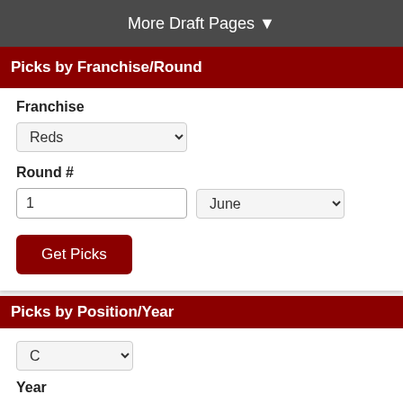More Draft Pages ▼
Picks by Franchise/Round
Franchise
Reds
Round #
1
June
Get Picks
Picks by Position/Year
C
Year
1968
June
Get Picks